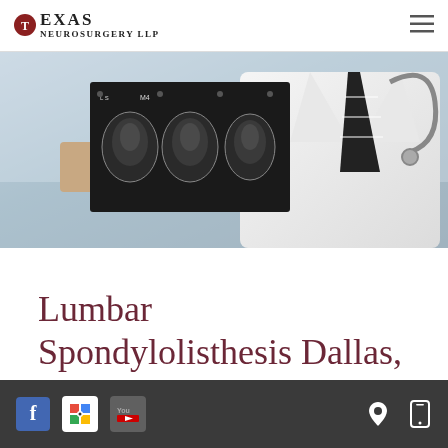Texas Neurosurgery LLP
[Figure (photo): Doctor in white coat with stethoscope holding brain MRI scan films]
Lumbar Spondylolisthesis Dallas, TX
Spondylolisthesis is a displacement of the
Social media icons: Facebook, Google, YouTube; Location and mobile icons